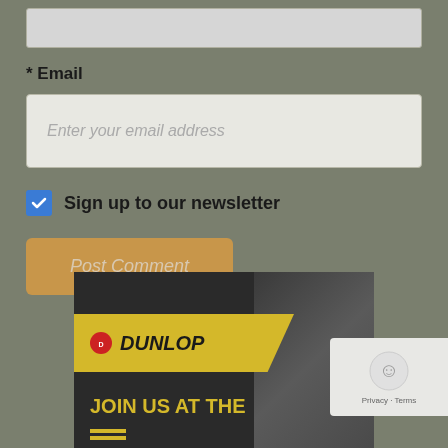* Email
Enter your email address
Sign up to our newsletter
Post Comment
[Figure (infographic): Dunlop advertisement banner showing yellow logo strip with DUNLOP text, dark background with people silhouettes, and text reading JOIN US AT THE]
[Figure (other): reCAPTCHA widget showing robot icon with Privacy - Terms text]